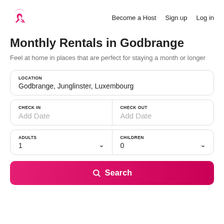Become a Host  Sign up  Log in
Monthly Rentals in Godbrange
Feel at home in places that are perfect for staying a month or longer
LOCATION
Godbrange, Junglinster, Luxembourg
CHECK IN
Add Date
CHECK OUT
Add Date
ADULTS
1
CHILDREN
0
Search